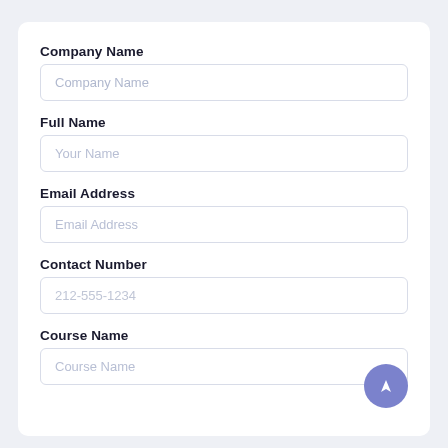Company Name
Company Name (placeholder)
Full Name
Your Name (placeholder)
Email Address
Email Address (placeholder)
Contact Number
212-555-1234 (placeholder)
Course Name
Course Name (placeholder)